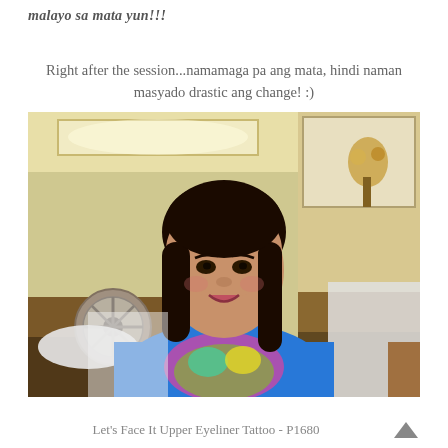malayo sa mata yun!!!
Right after the session...namamaga pa ang mata, hindi naman masyado drastic ang change! :)
[Figure (photo): A woman wearing a blue t-shirt with colorful print, smiling and seated in what appears to be a beauty salon or treatment room. Behind her is a desk fan, a counter with items, and a mirror on the right side.]
Let's Face It Upper Eyeliner Tattoo - P1680